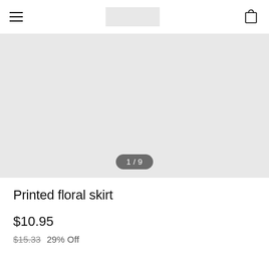Navigation header with hamburger menu, logo placeholder, and cart icon
[Figure (photo): Product image area showing a light gray placeholder with image counter badge '1 / 9' at the bottom center]
Printed floral skirt
$10.95
$15.33  29% Off